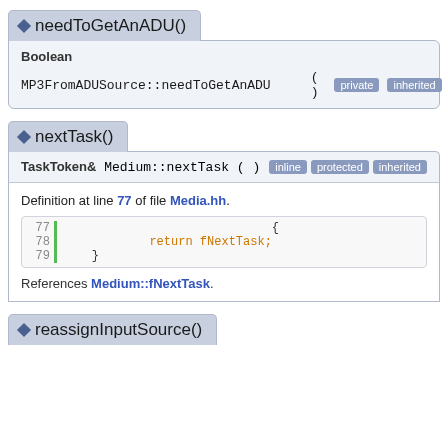needToGetAnADU()
Boolean MP3FromADUSource::needToGetAnADU ( ) private inherited
nextTask()
TaskToken& Medium::nextTask ( ) inline protected inherited
Definition at line 77 of file Media.hh.
[Figure (screenshot): Code block showing lines 77-79: line 77 has '{', line 78 has 'return fNextTask;', line 79 has '}']
References Medium::fNextTask.
reassignInputSource()